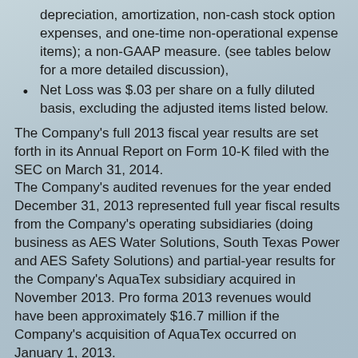depreciation, amortization, non-cash stock option expenses, and one-time non-operational expense items); a non-GAAP measure. (see tables below for a more detailed discussion),
Net Loss was $.03 per share on a fully diluted basis, excluding the adjusted items listed below.
The Company's full 2013 fiscal year results are set forth in its Annual Report on Form 10-K filed with the SEC on March 31, 2014.
The Company's audited revenues for the year ended December 31, 2013 represented full year fiscal results from the Company's operating subsidiaries (doing business as AES Water Solutions, South Texas Power and AES Safety Solutions) and partial-year results for the Company's AquaTex subsidiary acquired in November 2013. Pro forma 2013 revenues would have been approximately $16.7 million if the Company's acquisition of AquaTex occurred on January 1, 2013.
Each of the Company's Water, Power and Safety divisions experienced operational growth and increased revenues during 2013, as discussed below.